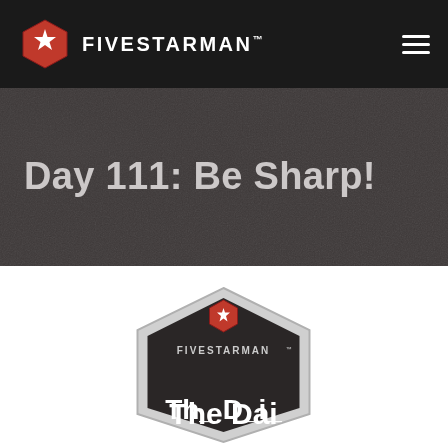FIVESTARMAN™
Day 111: Be Sharp!
[Figure (logo): Fivestarman badge/emblem logo — dark hexagonal shape with red star emblem at top, FIVESTARMAN text, and partial white bold text at bottom reading 'The D...']